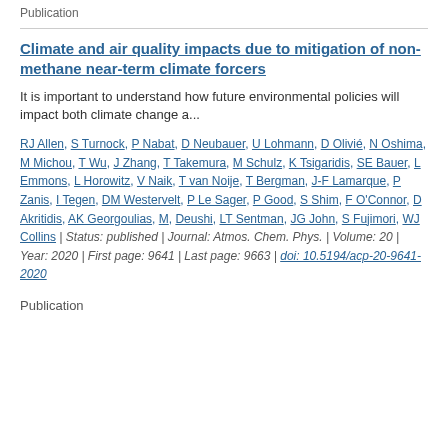Publication
Climate and air quality impacts due to mitigation of non-methane near-term climate forcers
It is important to understand how future environmental policies will impact both climate change a...
RJ Allen, S Turnock, P Nabat, D Neubauer, U Lohmann, D Olivié, N Oshima, M Michou, T Wu, J Zhang, T Takemura, M Schulz, K Tsigaridis, SE Bauer, L Emmons, L Horowitz, V Naik, T van Noije, T Bergman, J-F Lamarque, P Zanis, I Tegen, DM Westervelt, P Le Sager, P Good, S Shim, F O'Connor, D Akritidis, AK Georgoulias, M, Deushi, LT Sentman, JG John, S Fujimori, WJ Collins | Status: published | Journal: Atmos. Chem. Phys. | Volume: 20 | Year: 2020 | First page: 9641 | Last page: 9663 | doi: 10.5194/acp-20-9641-2020
Publication